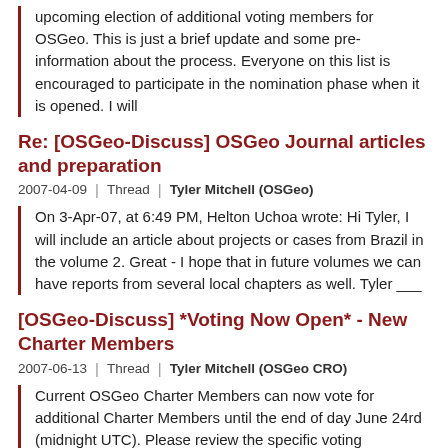upcoming election of additional voting members for OSGeo. This is just a brief update and some pre-information about the process. Everyone on this list is encouraged to participate in the nomination phase when it is opened. I will
Re: [OSGeo-Discuss] OSGeo Journal articles and preparation
2007-04-09 | Thread | Tyler Mitchell (OSGeo)
On 3-Apr-07, at 6:49 PM, Helton Uchoa wrote: Hi Tyler, I will include an article about projects or cases from Brazil in the volume 2. Great - I hope that in future volumes we can have reports from several local chapters as well. Tyler ___
[OSGeo-Discuss] *Voting Now Open* - New Charter Members
2007-06-13 | Thread | Tyler Mitchell (OSGeo CRO)
Current OSGeo Charter Members can now vote for additional Charter Members until the end of day June 24rd (midnight UTC). Please review the specific voting procedures: - There are 37 nominees, listed here [1], review the lower section of that page to see their qualifications/contributions